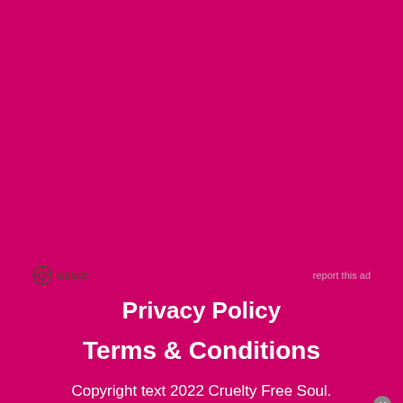[Figure (logo): Ezoic logo with circular gear icon and 'ezoic' text in brown, with 'report this ad' link to the right, on magenta background]
Privacy Policy
Terms & Conditions
Copyright text 2022 Cruelty Free Soul.
[Figure (other): Video media overlay box: 'No compatible source was found for this media.' with close button, on grey background]
[Figure (other): Direct Relief orange advertisement banner: 'Help send medical aid to Ukraine >>' with Direct Relief logo and X close button]